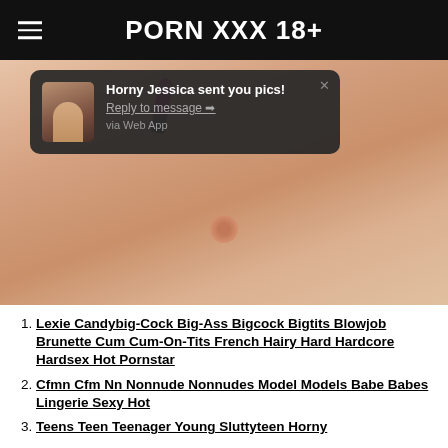PORN XXX 18+
[Figure (photo): Screenshot of adult website showing a photo with a notification overlay reading 'Horny Jessica sent you pics! Reply to message → via Web App']
Lexie Candybig-Cock Big-Ass Bigcock Bigtits Blowjob Brunette Cum Cum-On-Tits French Hairy Hard Hardcore Hardsex Hot Pornstar
Cfmn Cfm Nn Nonnude Nonnudes Model Models Babe Babes Lingerie Sexy Hot
Teens Teen Teenager Young Sluttyteen Horny